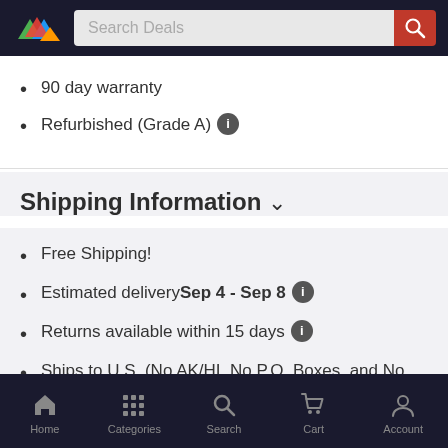[Figure (logo): Colorful triangle logo with green, blue, red, orange triangles on dark background header with search bar]
90 day warranty
Refurbished (Grade A) ℹ
Shipping Information ∨
Free Shipping!
Estimated delivery Sep 4 - Sep 8 ℹ
Returns available within 15 days ℹ
Ships to U.S. (No AK/HI, No P.O. Boxes, and No Military Addresses)
Home  Categories  Search  Cart  Account